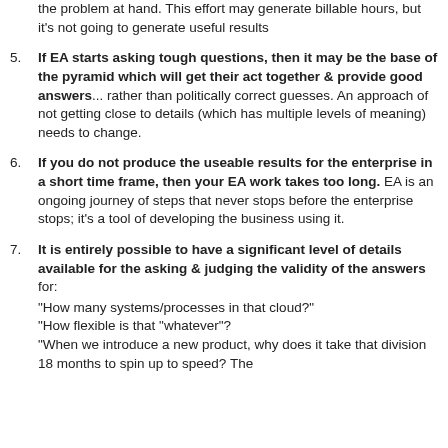the problem at hand. This effort may generate billable hours, but it's not going to generate useful results
5. If EA starts asking tough questions, then it may be the base of the pyramid which will get their act together & provide good answers... rather than politically correct guesses. An approach of not getting close to details (which has multiple levels of meaning) needs to change.
6. If you do not produce the useable results for the enterprise in a short time frame, then your EA work takes too long. EA is an ongoing journey of steps that never stops before the enterprise stops; it's a tool of developing the business using it.
7. It is entirely possible to have a significant level of details available for the asking & judging the validity of the answers for: "How many systems/processes in that cloud?" "How flexible is that "whatever"? "When we introduce a new product, why does it take that division 18 months to spin up to speed? The